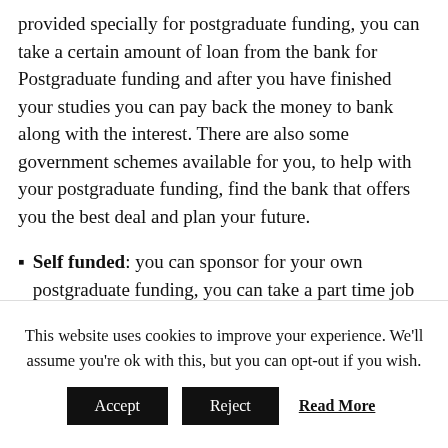provided specially for postgraduate funding, you can take a certain amount of loan from the bank for Postgraduate funding and after you have finished your studies you can pay back the money to bank along with the interest. There are also some government schemes available for you, to help with your postgraduate funding, find the bank that offers you the best deal and plan your future.
Self funded: you can sponsor for your own postgraduate funding, you can take a part time job to finance your tuition fees. There are also some great part time courses available you can enquire
This website uses cookies to improve your experience. We'll assume you're ok with this, but you can opt-out if you wish.